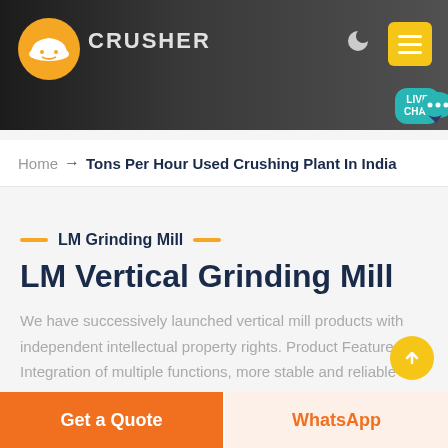[Figure (screenshot): Website header banner with dark background showing construction/crusher equipment, company logo (hard hat icon), CRUSHER text, moon/dark mode icon, and yellow hamburger menu button]
[Figure (other): Teal live chat bubble with LIVE CHAT text and chat icon]
Home → Tons Per Hour Used Crushing Plant In India
LM Grinding Mill
LM Vertical Grinding Mill
We have successively launched vertical mill products with independent intellectual property rights. Product Features: Integration of multiple functions, more stable and reliable production and more excellent capacity
Get a Quote
WhatsApp